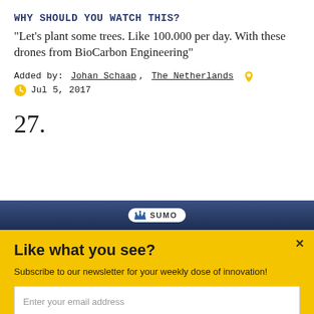WHY SHOULD YOU WATCH THIS?
“Let’s plant some trees. Like 100.000 per day. With these drones from BioCarbon Engineering”
Added by: Johan Schaap, The Netherlands 📍
Jul 5, 2017
27.
[Figure (screenshot): Dark blue image strip with SUMO badge/logo centered]
Like what you see?
Subscribe to our newsletter for your weekly dose of innovation!
Enter your email address
Subscribe!